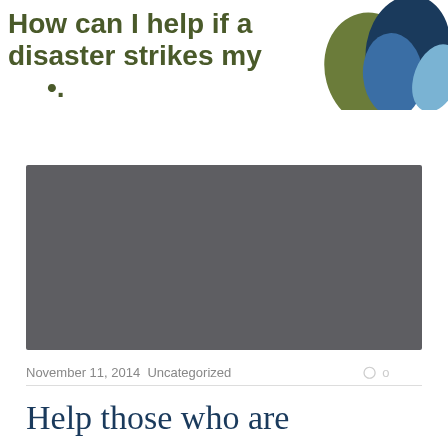How can I help if a disaster strikes my •.
[Figure (logo): Decorative overlapping teardrop/leaf shapes in olive green, dark navy, medium blue, and light blue forming a logo in the top-right corner]
[Figure (photo): Dark gray video placeholder rectangle]
November 11, 2014  Uncategorized
0 o
Help those who are